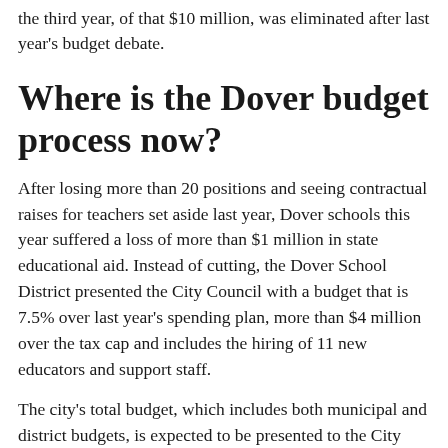the third year, of that $10 million, was eliminated after last year's budget debate.
Where is the Dover budget process now?
After losing more than 20 positions and seeing contractual raises for teachers set aside last year, Dover schools this year suffered a loss of more than $1 million in state educational aid. Instead of cutting, the Dover School District presented the City Council with a budget that is 7.5% over last year's spending plan, more than $4 million over the tax cap and includes the hiring of 11 new educators and support staff.
The city's total budget, which includes both municipal and district budgets, is expected to be presented to the City Council on March 23. The tentative vote for budget adoption is May 4. The City Council is required by city charter to adopt